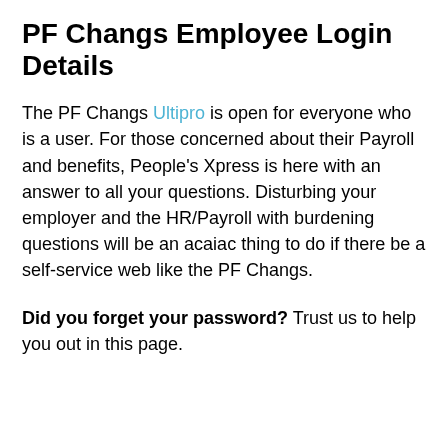PF Changs Employee Login Details
The PF Changs Ultipro is open for everyone who is a user. For those concerned about their Payroll and benefits, People's Xpress is here with an answer to all your questions. Disturbing your employer and the HR/Payroll with burdening questions will be an acaiac thing to do if there be a self-service web like the PF Changs.
Did you forget your password? Trust us to help you out in this page.